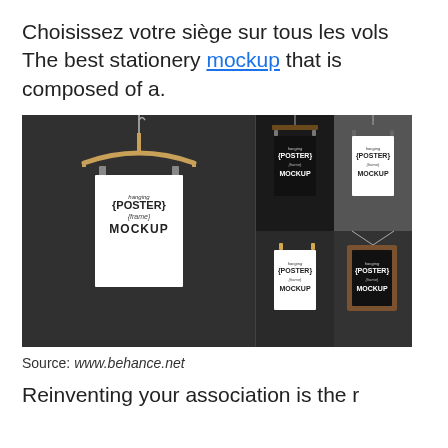Choisissez votre siège sur tous les vols The best stationery mockup that is composed of a.
[Figure (photo): A collage of hanging poster frame mockups on a dark wall background. One large poster on a wooden hanger (left), and four smaller poster mockups in a 2x2 grid (right) — alternating black and white versions — all showing 'Hanging Poster Frame Mockup' lettering.]
Source: www.behance.net
Reinventing your association is the r...